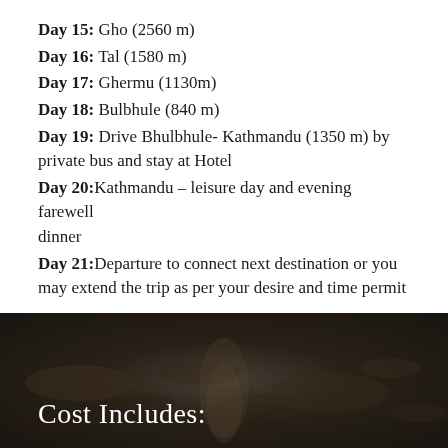Day 15: Gho (2560 m)
Day 16: Tal (1580 m)
Day 17: Ghermu (1130m)
Day 18: Bulbhule (840 m)
Day 19: Drive Bhulbhule- Kathmandu (1350 m) by private bus and stay at Hotel
Day 20: Kathmandu – leisure day and evening farewell dinner
Day 21: Departure to connect next destination or you may extend the trip as per your desire and time permit
[Figure (photo): Dark ground/trail photo with rocky soil, used as background for section header]
Cost Includes: